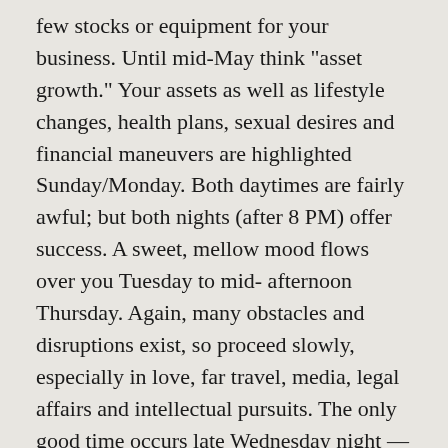few stocks or equipment for your business. Until mid-May think "asset growth." Your assets as well as lifestyle changes, health plans, sexual desires and financial maneuvers are highlighted Sunday/Monday. Both daytimes are fairly awful; but both nights (after 8 PM) offer success. A sweet, mellow mood flows over you Tuesday to mid- afternoon Thursday. Again, many obstacles and disruptions exist, so proceed slowly, especially in love, far travel, media, legal affairs and intellectual pursuits. The only good time occurs late Wednesday night — when you could think of the solution to any problems. (Friendship is the basis of the solution.)  Realize friends and money do not mix now. Your career and worldly standing, your ambitions and prestige relationships are all in focus Thursday evening through Saturday – and now, at last, good fortune rides with you. Charge ahead,